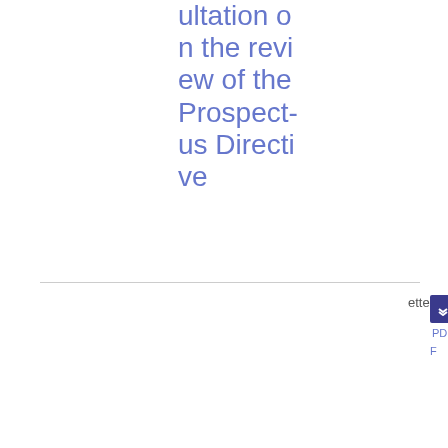ultation on the review of the Prospectus Directive
| Date | Ref | Title | Tags | File |
| --- | --- | --- | --- | --- |
| 01/03/2012 | 2012/138 | ESMA's technical advice on possible | Prospectus, Corporate Disclosure | PDF 94.68 KB |